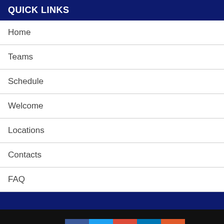QUICK LINKS
Home
Teams
Schedule
Welcome
Locations
Contacts
FAQ
External links a  [Facebook] [Twitter] [Google+] [LinkedIn] [Email]  Imo  k   Close ×